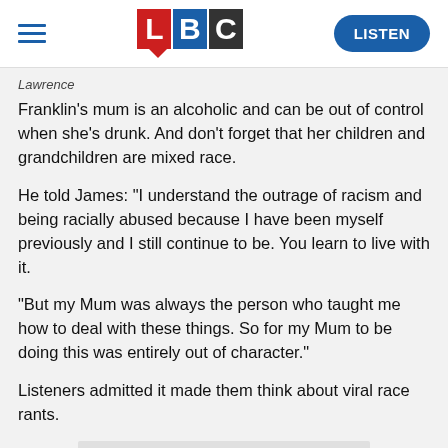LBC — LISTEN
Lawrence
Franklin's mum is an alcoholic and can be out of control when she's drunk. And don't forget that her children and grandchildren are mixed race.
He told James: "I understand the outrage of racism and being racially abused because I have been myself previously and I still continue to be. You learn to live with it.
"But my Mum was always the person who taught me how to deal with these things. So for my Mum to be doing this was entirely out of character."
Listeners admitted it made them think about viral race rants.